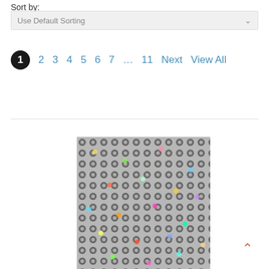Sort by:
Use Default Sorting
1  2  3  4  5  6  7  ...  11  Next  View All
[Figure (photo): Close-up photo of a glittery holographic sequin fabric with colorful iridescent dots on silver mesh background]
↑ back to top button